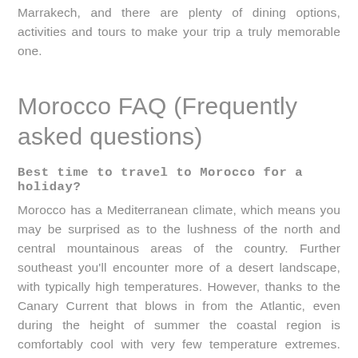Marrakech, and there are plenty of dining options, activities and tours to make your trip a truly memorable one.
Morocco FAQ (Frequently asked questions)
Best time to travel to Morocco for a holiday?
Morocco has a Mediterranean climate, which means you may be surprised as to the lushness of the north and central mountainous areas of the country. Further southeast you'll encounter more of a desert landscape, with typically high temperatures. However, thanks to the Canary Current that blows in from the Atlantic, even during the height of summer the coastal region is comfortably cool with very few temperature extremes. Summers, in general, are largely dry and sunny, with